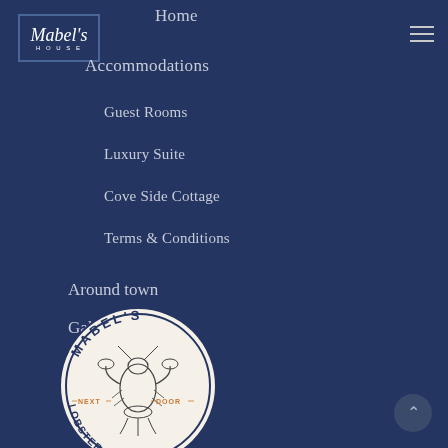[Figure (logo): Mabel's House logo — white italic script 'Mabel's' with 'HOUSE' in small caps below, inside a navy rectangle with thin border]
Home
Accommodations
Guest Rooms
Luxury Suite
Cove Side Cottage
Terms & Conditions
Around town
Gallery
Drinks + Dining
Contact Us
[Figure (logo): Mabel's Lobster Claw Too circular logo — dark navy ring with 'MABEL'S' at top and 'LOBSTER CLAW TOO' at bottom in white text, lobster illustration in center, 'NEXT DOOR' text in orange on either side of lobster]